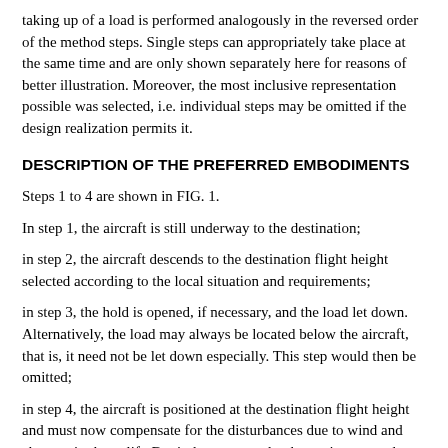taking up of a load is performed analogously in the reversed order of the method steps. Single steps can appropriately take place at the same time and are only shown separately here for reasons of better illustration. Moreover, the most inclusive representation possible was selected, i.e. individual steps may be omitted if the design realization permits it.
DESCRIPTION OF THE PREFERRED EMBODIMENTS
Steps 1 to 4 are shown in FIG. 1.
In step 1, the aircraft is still underway to the destination;
in step 2, the aircraft descends to the destination flight height selected according to the local situation and requirements;
in step 3, the hold is opened, if necessary, and the load let down. Alternatively, the load may always be located below the aircraft, that is, it need not be let down especially. This step would then be omitted;
in step 4, the aircraft is positioned at the destination flight height and must now compensate for the disturbances due to wind and changes in the uplift. But it does not need to be stationary, and can be in constant motion.